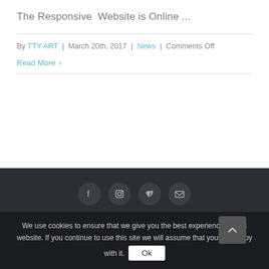The Responsive  Website is Online ...
By TTY ART | March 20th, 2017 | News | Comments Off
Read More ›
[Figure (infographic): Website footer with dark background containing social media icons: Facebook, Instagram, Vimeo, Email]
We use cookies to ensure that we give you the best experience on this website. If you continue to use this site we will assume that you are happy with it.